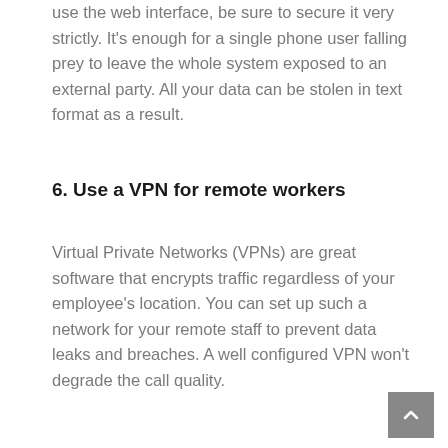use the web interface, be sure to secure it very strictly. It's enough for a single phone user falling prey to leave the whole system exposed to an external party. All your data can be stolen in text format as a result.
6. Use a VPN for remote workers
Virtual Private Networks (VPNs) are great software that encrypts traffic regardless of your employee's location. You can set up such a network for your remote staff to prevent data leaks and breaches. A well configured VPN won't degrade the call quality.